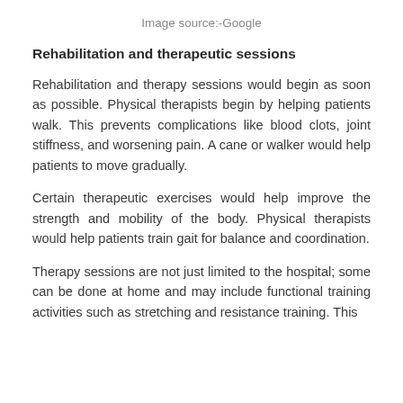Image source:-Google
Rehabilitation and therapeutic sessions
Rehabilitation and therapy sessions would begin as soon as possible. Physical therapists begin by helping patients walk. This prevents complications like blood clots, joint stiffness, and worsening pain. A cane or walker would help patients to move gradually.
Certain therapeutic exercises would help improve the strength and mobility of the body. Physical therapists would help patients train gait for balance and coordination.
Therapy sessions are not just limited to the hospital; some can be done at home and may include functional training activities such as stretching and resistance training. This